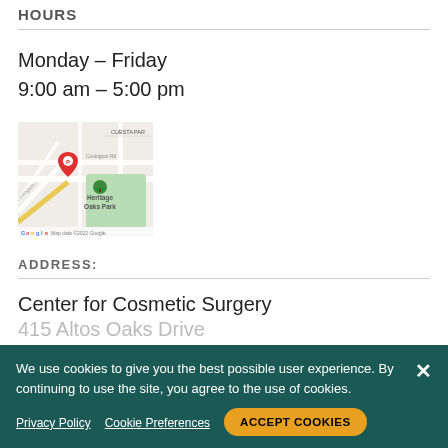HOURS
Monday – Friday
9:00 am – 5:00 pm
[Figure (map): Google Maps screenshot showing location near Heritage Oaks Park with a red pin marker labeled P and a green tree/park marker. Street labels include Cuesta Pa[rk], Covington Rd. Map data ©2022 Google shown at bottom.]
ADDRESS:
Center for Cosmetic Surgery
415 Altos Oaks Drive
Los Altos
CA 94024
We use cookies to give you the best possible user experience. By continuing to use the site, you agree to the use of cookies.
Privacy Policy
Cookie Preferences
ACCEPT COOKIES